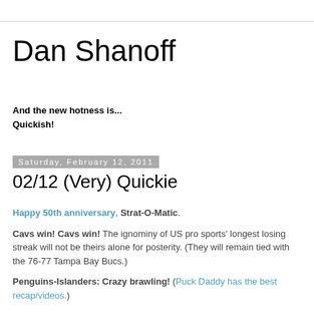Dan Shanoff
And the new hotness is...
Quickish!
Saturday, February 12, 2011
02/12 (Very) Quickie
Happy 50th anniversary, Strat-O-Matic.
Cavs win! Cavs win! The ignominy of US pro sports' longest losing streak will not be theirs alone for posterity. (They will remain tied with the 76-77 Tampa Bay Bucs.)
Penguins-Islanders: Crazy brawling! (Puck Daddy has the best recap/videos.)